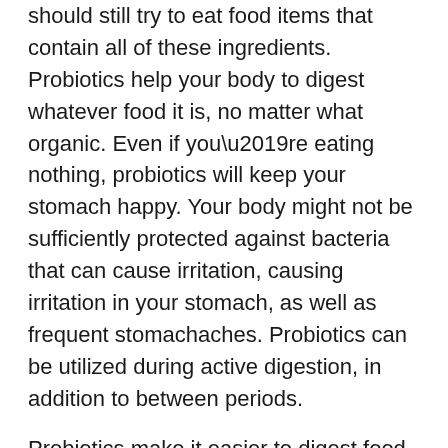should still try to eat food items that contain all of these ingredients. Probiotics help your body to digest whatever food it is, no matter what organic. Even if you’re eating nothing, probiotics will keep your stomach happy. Your body might not be sufficiently protected against bacteria that can cause irritation, causing irritation in your stomach, as well as frequent stomachaches. Probiotics can be utilized during active digestion, in addition to between periods.
Probiotics make it easier to digest food. They help to breakdown the food faster. Your digestive system will respond quicker to this process, which will reduce any stomach issues that you may be experiencing. Probiotics can aid in